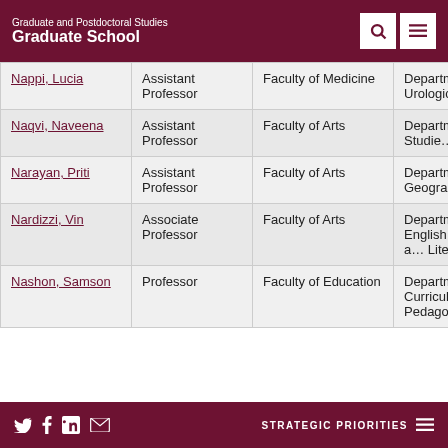Graduate and Postdoctoral Studies Graduate School
| Name | Rank | Faculty | Department |
| --- | --- | --- | --- |
| Nappi, Lucia | Assistant Professor | Faculty of Medicine | Department of Urologic Sciences |
| Naqvi, Naveena | Assistant Professor | Faculty of Arts | Department of Asian Studies |
| Narayan, Priti | Assistant Professor | Faculty of Arts | Department of Geography |
| Nardizzi, Vin | Associate Professor | Faculty of Arts | Department of English Language and Literatures |
| Nashon, Samson | Professor | Faculty of Education | Department of Curriculum and Pedagogy |
STRATEGIC PRIORITIES